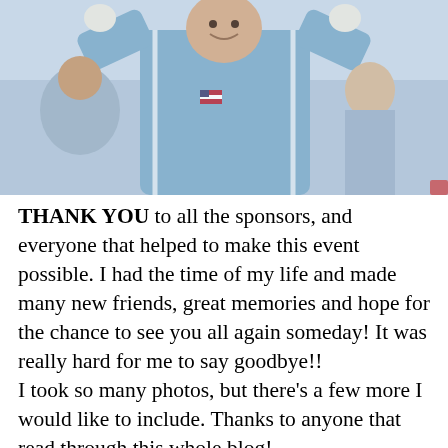[Figure (photo): A person in a light blue jacket with American flag patch, arms raised, smiling, celebrating at what appears to be a sporting or racing event.]
THANK YOU to all the sponsors, and everyone that helped to make this event possible. I had the time of my life and made many new friends, great memories and hope for the chance to see you all again someday! It was really hard for me to say goodbye!!
I took so many photos, but there's a few more I would like to include. Thanks to anyone that read through this whole blog!